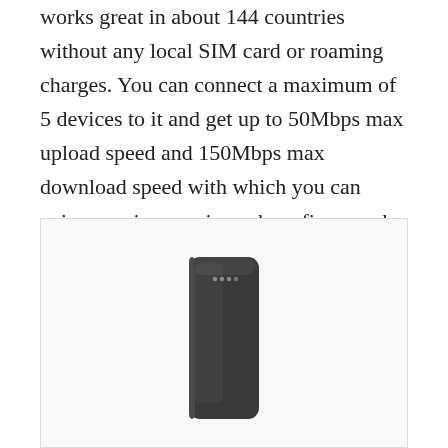works great in about 144 countries without any local SIM card or roaming charges. You can connect a maximum of 5 devices to it and get up to 50Mbps max upload speed and 150Mbps max download speed with which you can enjoy movies, music, web surfing, work from everywhere.
[Figure (photo): A portable mobile Wi-Fi hotspot device (pocket-sized, dark gray/black rectangular shape with rounded corners and LED indicator dots visible on the front), shown against a white background inside a light-bordered rectangle.]